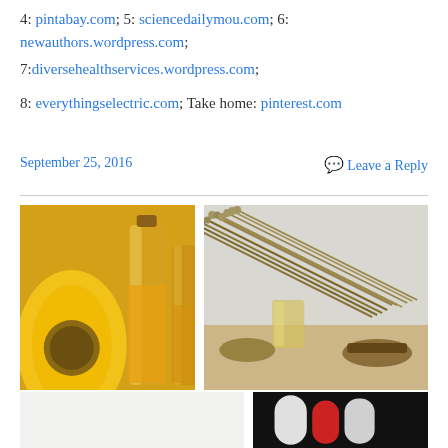4: pintabay.com; 5: sciencedailymou.com; 6: newauthors.wordpress.com;
7:diversehealthservices.wordpress.com;
8: everythingselectric.com; Take home: pinterest.com
September 25, 2016
Leave a Reply
[Figure (photo): Two photos side by side: left shows a sunflower with oil bottles containing yellow oil; right shows dried flax plant stalks with seeds and oil in a glass container on a wooden surface.]
[Figure (photo): Bottom portion: left side shows a partial white/light image, right side shows a dark image with supplement bottles.]